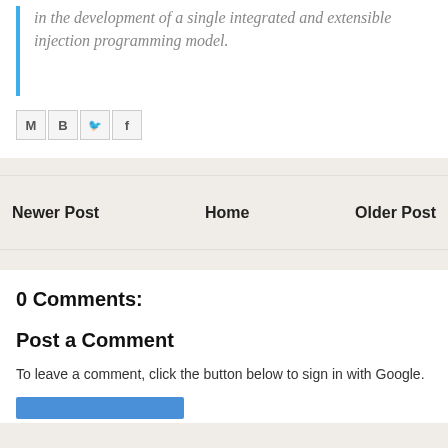in the development of a single integrated and extensible injection programming model.
[Figure (infographic): Social share icons: Gmail (M), Blogger (B), Twitter bird, Facebook (f)]
Newer Post
Home
Older Post
0 Comments:
Post a Comment
To leave a comment, click the button below to sign in with Google.